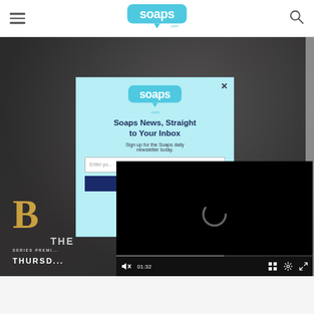Soaps.com website header with hamburger menu, Soaps logo, and search icon
[Figure (screenshot): Dark background promotional image for a TV series, showing partial gold letter 'B', text 'SERIES PREMI...' and 'THURSD...' overlaid with a newsletter signup modal popup and a video player overlay]
Soaps News, Straight to Your Inbox
Sign up for the Soaps daily newsletter today.
Enter yo... [email input field]
SERIES PREMI...
THURSD...
01:32